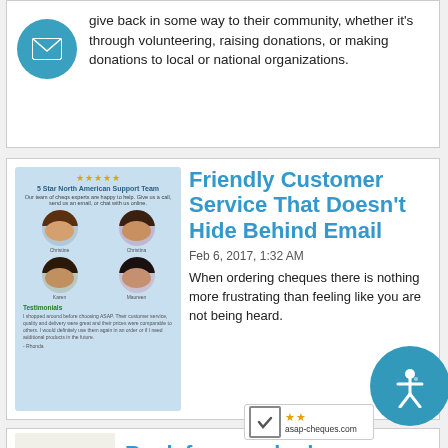give back in some way to their community, whether it's through volunteering, raising donations, or making donations to local or national organizations.
[Figure (illustration): Teal circular icon with envelope/mail symbol]
Friendly Customer Service That Doesn't Hide Behind Email
Feb 6, 2017, 1:32 AM
When ordering cheques there is nothing more frustrating than feeling like you are not being heard.
[Figure (screenshot): Screenshot of 5 Star North American Support Team page showing team photos and testimonials]
Bank fees are bad
[Figure (illustration): Partial illustration at bottom of page]
[Figure (logo): asap-cheques.com badge with checkmark and star rating]
[Figure (other): Teal accessibility icon circle overlay]